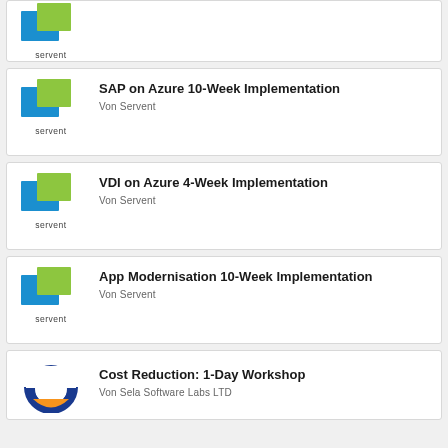[Figure (logo): Servent logo at top, partial card]
SAP on Azure 10-Week Implementation
Von Servent
VDI on Azure 4-Week Implementation
Von Servent
App Modernisation 10-Week Implementation
Von Servent
Cost Reduction: 1-Day Workshop
Von Sela Software Labs LTD